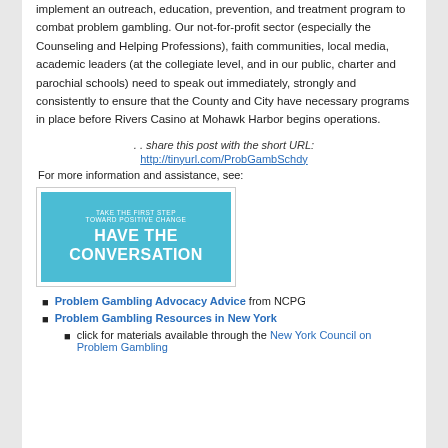implement an outreach, education, prevention, and treatment program to combat problem gambling. Our not-for-profit sector (especially the Counseling and Helping Professions), faith communities, local media, academic leaders (at the collegiate level, and in our public, charter and parochial schools) need to speak out immediately, strongly and consistently to ensure that the County and City have necessary programs in place before Rivers Casino at Mohawk Harbor begins operations.
. . share this post with the short URL:
http://tinyurl.com/ProbGambSchdy
For more information and assistance, see:
[Figure (infographic): Blue banner image with text: TAKE THE FIRST STEP TOWARD POSITIVE CHANGE - HAVE THE CONVERSATION]
Problem Gambling Advocacy Advice from NCPG
Problem Gambling Resources in New York
click for materials available through the New York Council on Problem Gambling